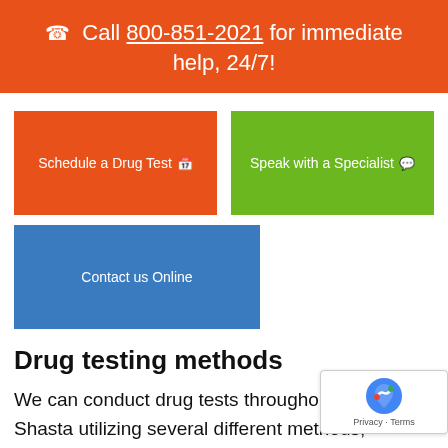☎ Call 800-851-2021 for immediate help, 24/7!
[Figure (other): Orange button: Schedule a Drug Test with calendar icon]
[Figure (other): Green button: Speak with a Specialist with chat icon]
[Figure (other): Blue button: Contact us Online]
Drug testing methods
We can conduct drug tests throughout Mount Shasta utilizing several different methods, depending on your situation. Each method has pros and cons, and